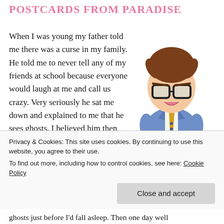POSTCARDS FROM PARADISE
When I was young my father told me there was a curse in my family. He told me to never tell any of my friends at school because everyone would laugh at me and call us crazy. Very seriously he sat me down and explained to me that he sees ghosts. I believed him then and
[Figure (illustration): Cartoon illustration of a young boy in a blue suit with glasses, messy brown hair, and a yellow tie, standing with arms slightly out.]
ghosts just before I'd fall asleep. Then one day well
Privacy & Cookies: This site uses cookies. By continuing to use this website, you agree to their use.
To find out more, including how to control cookies, see here: Cookie Policy